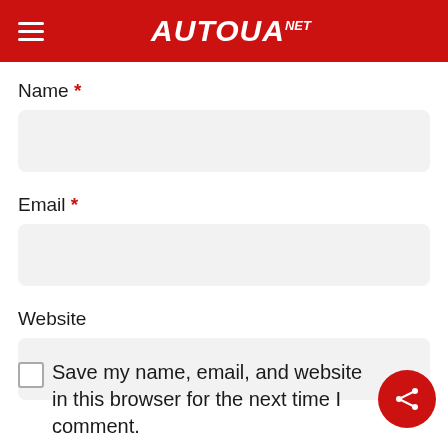AUTOUANET
Name *
Email *
Website
Save my name, email, and website in this browser for the next time I comment.